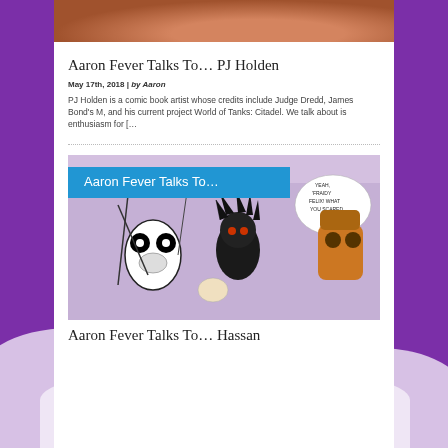[Figure (photo): Top portion of an article image, appears to be a dark close-up photo (partially visible)]
Aaron Fever Talks To… PJ Holden
May 17th, 2018 | by Aaron
PJ Holden is a comic book artist whose credits include Judge Dredd, James Bond's M, and his current project World of Tanks: Citadel. We talk about is enthusiasm for [&hellip]
[Figure (illustration): Comic book style illustration with blue overlay label reading 'Aaron Fever Talks To...' showing cartoon characters on a purple background]
Aaron Fever Talks To… Hassan